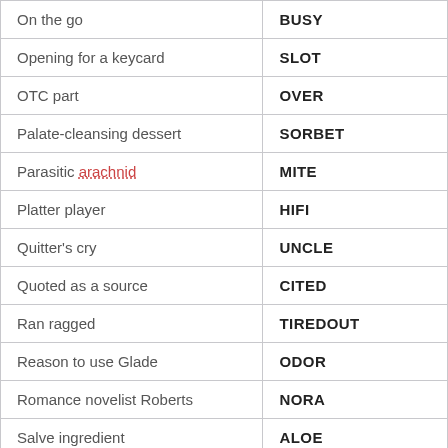| On the go | BUSY |
| Opening for a keycard | SLOT |
| OTC part | OVER |
| Palate-cleansing dessert | SORBET |
| Parasitic arachnid | MITE |
| Platter player | HIFI |
| Quitter's cry | UNCLE |
| Quoted as a source | CITED |
| Ran ragged | TIREDOUT |
| Reason to use Glade | ODOR |
| Romance novelist Roberts | NORA |
| Salve ingredient | ALOE |